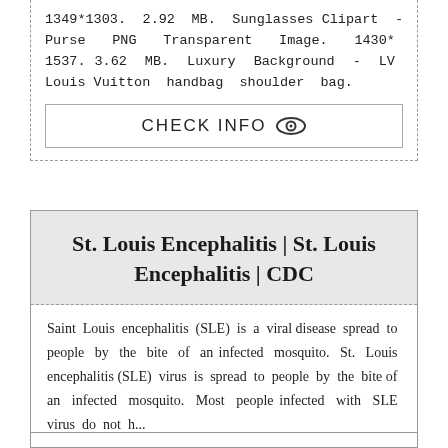1349*1303. 2.92 MB. Sunglasses Clipart - Purse PNG Transparent Image. 1430* 1537. 3.62 MB. Luxury Background - LV Louis Vuitton handbag shoulder bag.
CHECK INFO
St. Louis Encephalitis | St. Louis Encephalitis | CDC
Saint Louis encephalitis (SLE) is a viral disease spread to people by the bite of an infected mosquito. St. Louis encephalitis (SLE) virus is spread to people by the bite of an infected mosquito. Most people infected with SLE virus do not h...